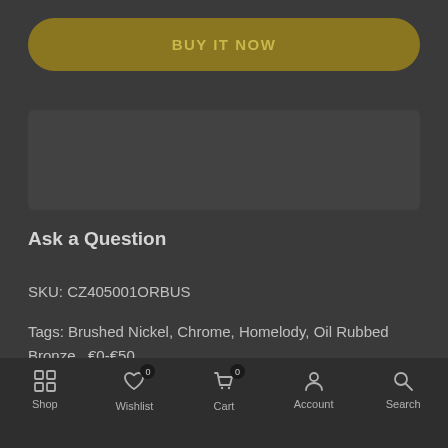BUY IT NOW
Ask a Question
SKU: CZ405001ORBUS
Tags: Brushed Nickel, Chrome, Homelody, Oil Rubbed Bronze , €0-€50
US/CA Available / Oil Rubbed Bronze
Shop  Wishlist  Cart  Account  Search